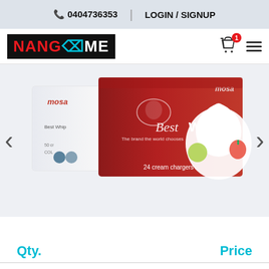📞 0404736353  |  LOGIN / SIGNUP
[Figure (logo): NANGME logo in black box with red and white text, plus cart icon with badge '1' and hamburger menu]
[Figure (photo): Product photo showing Mosa Best Whip cream charger boxes — a white box and a red box with 'Best Whip The brand the world chooses' and '24 cream chargers' text, with whipped cream and fruit imagery]
Qty.
Price
50x Cream Chargers
$45